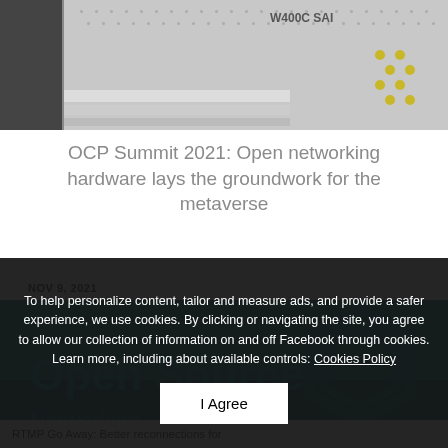[Figure (photo): Close-up photo of networking hardware showing a W400C SAI device with metal perforated panels and yellow/green accents]
OCP Summit 2021: Open networking hardware lays the groundwork for the metaverse
NOV 9, 2021
[Figure (screenshot): Teal/dark teal background with large text 'Open Source' visible and a hexagonal logo watermark]
To help personalize content, tailor and measure ads, and provide a safer experience, we use cookies. By clicking or navigating the site, you agree to allow our collection of information on and off Facebook through cookies. Learn more, including about available controls: Cookies Policy
I Agree
RTMP Go Away: Better reconnections for